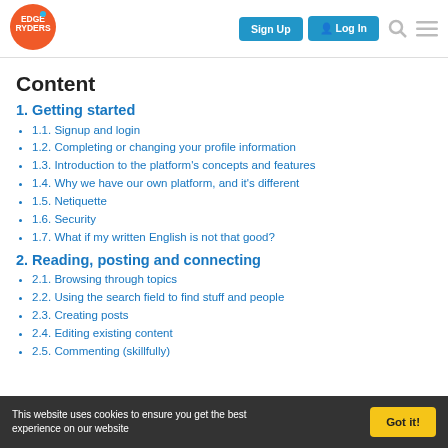[Figure (logo): Edgeryders logo - orange circle with white EDGE RYDERS text]
Content
1. Getting started
1.1. Signup and login
1.2. Completing or changing your profile information
1.3. Introduction to the platform's concepts and features
1.4. Why we have our own platform, and it's different
1.5. Netiquette
1.6. Security
1.7. What if my written English is not that good?
2. Reading, posting and connecting
2.1. Browsing through topics
2.2. Using the search field to find stuff and people
2.3. Creating posts
2.4. Editing existing content
2.5. Commenting (skillfully)
This website uses cookies to ensure you get the best experience on our website